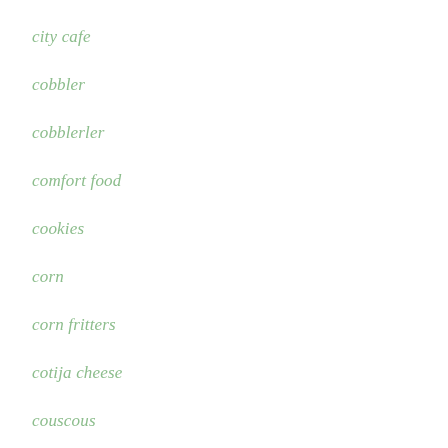city cafe
cobbler
cobblerler
comfort food
cookies
corn
corn fritters
cotija cheese
couscous
crab bisque